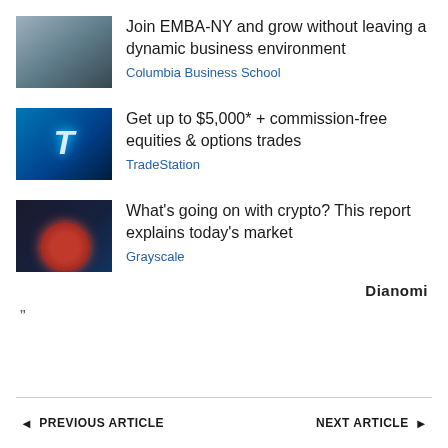[Figure (photo): Photo of people walking across a bridge or architectural structure, muted blue-grey tones]
Join EMBA-NY and grow without leaving a dynamic business environment
Columbia Business School
[Figure (photo): Blue glowing letter T logo on dark blue background, TradeStation advertisement]
Get up to $5,000* + commission-free equities & options trades
TradeStation
[Figure (photo): Dark background with red glowing spherical brain/crypto figure surrounded by blue light elements, Grayscale advertisement]
What's going on with crypto? This report explains today's market
Grayscale
Dianomi
””
◄ PREVIOUS ARTICLE    NEXT ARTICLE ►